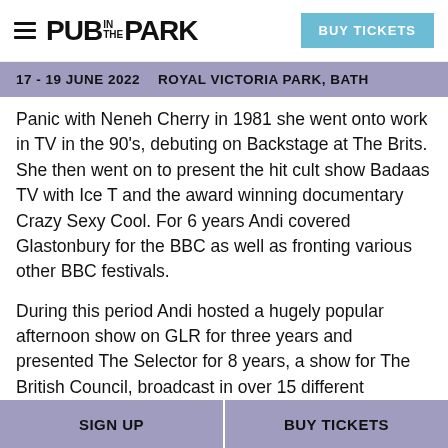PUB IN THE PARK | BUY TICKETS
17 - 19 JUNE 2022   ROYAL VICTORIA PARK, BATH
Panic with Neneh Cherry in 1981 she went onto work in TV in the 90's, debuting on Backstage at The Brits. She then went on to present the hit cult show Badaas TV with Ice T and the award winning documentary Crazy Sexy Cool. For 6 years Andi covered Glastonbury for the BBC as well as fronting various other BBC festivals.
During this period Andi hosted a hugely popular afternoon show on GLR for three years and presented The Selector for 8 years, a show for The British Council, broadcast in over 15 different countries. In 2005, with Andi at the
SIGN UP   BUY TICKETS